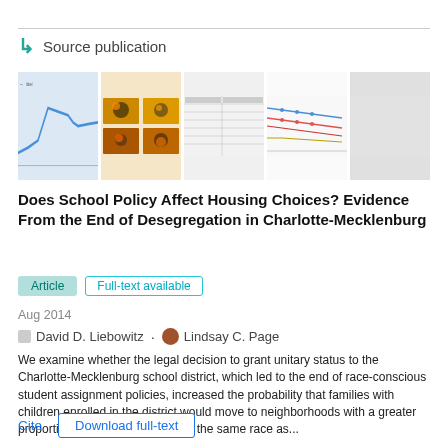Source publication
[Figure (other): Thumbnail previews of 5 figures from the source publication: line chart, heat maps (2x2 grid), table, line chart with multiple series, blank/gray placeholder]
Does School Policy Affect Housing Choices? Evidence From the End of Desegregation in Charlotte-Mecklenburg
Article   Full-text available
Aug 2014
David D. Liebowitz · Lindsay C. Page
We examine whether the legal decision to grant unitary status to the Charlotte-Mecklenburg school district, which led to the end of race-conscious student assignment policies, increased the probability that families with children enrolled in the district would move to neighborhoods with a greater proportion of student residents of the same race as...
Cite   Download full-text